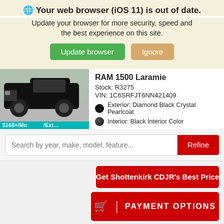🌐 Your web browser (iOS 11) is out of date.
Update your browser for more security, speed and the best experience on this site.
Update browser | Ignore
RAM 1500 Laramie
Stock: R3275
VIN: 1C6SRFJT6NN421409
Exterior: Diamond Black Crystal Pearlcoat
Interior: Black Interior Color
[Figure (photo): Black RAM 1500 Laramie pickup truck with teal banner overlay at bottom]
Search by year, make, model, feature...
Refine
Get Shottenkirk CDJR's Best Price
🛒 | PAYMENT OPTIONS
Get Shottenkirk CDJR's Best P...